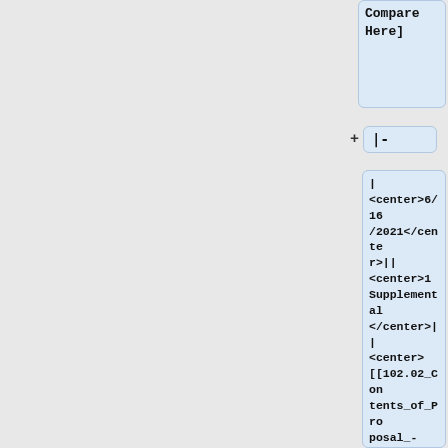Compare
Here]
|-
|
<center>6/16/2021</center>||
<center>1 Supplemental</center>||
<center>[[102.02_Contents_of_Proposal_-_Progress_Clause#Boilerplate_Progress_Clause|102.02]]</center>||U